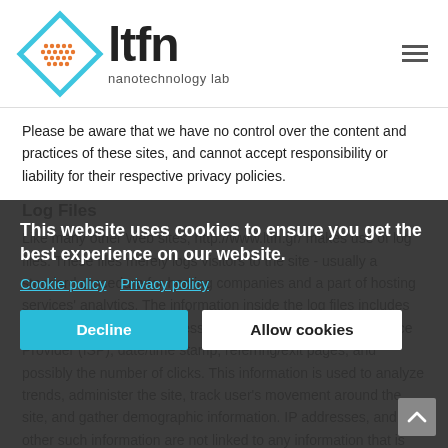[Figure (logo): LTFN nanotechnology lab logo — diamond-shaped grid icon with 'ltfn nanotechnology lab' text]
Please be aware that we have no control over the content and practices of these sites, and cannot accept responsibility or liability for their respective privacy policies.
Log Files
Like many other Web sites, http://www.ltfn.gr/ makes use of log files. These files merely logs visitors to the site - usually a standard procedure for hosting companies and a part of hosting services' analytics. The information inside the log files includes internet Protocol (IP) addresses, browser type, Internet Service Provider (ISP), date/time stamp, referring/exit pages, and possibly the number of clicks. This information is used to analyze trends, administer the site, track user's movement around the site, and gather demographic information. IP addresses, and other such information are not linked to any information that is personally identifiable.
Cookies
This website uses cookies to ensure you get the best experience on our website.
Cookie policy   Privacy policy
Decline   Allow cookies